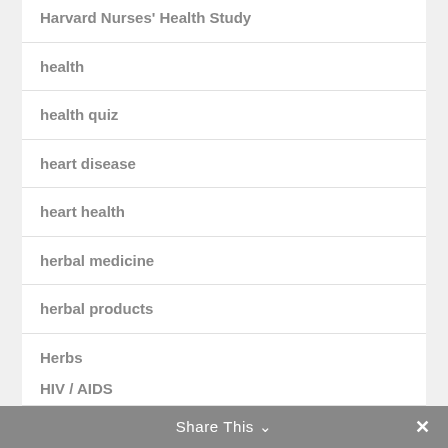Harvard Nurses' Health Study
health
health quiz
heart disease
heart health
herbal medicine
herbal products
Herbs
Herbs & Supplements
HIV / AIDS
Share This ∨ ✕